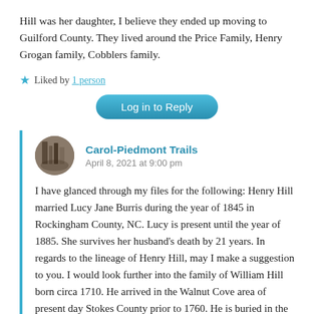Hill was her daughter, I believe they ended up moving to Guilford County. They lived around the Price Family, Henry Grogan family, Cobblers family.
★ Liked by 1 person
Log in to Reply
Carol-Piedmont Trails
April 8, 2021 at 9:00 pm
I have glanced through my files for the following: Henry Hill married Lucy Jane Burris during the year of 1845 in Rockingham County, NC. Lucy is present until the year of 1885. She survives her husband's death by 21 years. In regards to the lineage of Henry Hill, may I make a suggestion to you. I would look further into the family of William Hill born circa 1710. He arrived in the Walnut Cove area of present day Stokes County prior to 1760. He is buried in the Voss Family Cemetery. William married Susanna Smathers and had the following children; William Jr. Thomas, Robert, Ewell, Elizabeth, Daniel, Jessie, James, Joshua and Joel. Remnants of